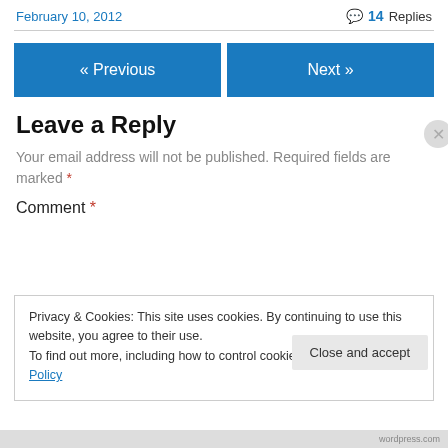February 10, 2012
14 Replies
« Previous
Next »
Leave a Reply
Your email address will not be published. Required fields are marked *
Comment *
Privacy & Cookies: This site uses cookies. By continuing to use this website, you agree to their use.
To find out more, including how to control cookies, see here: Cookie Policy
Close and accept